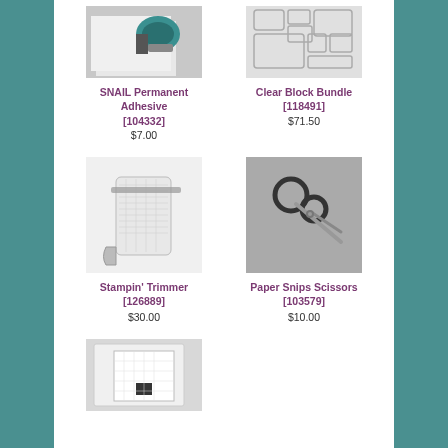[Figure (photo): SNAIL Permanent Adhesive product photo showing adhesive dispenser on white paper background]
SNAIL Permanent Adhesive [104332] $7.00
[Figure (photo): Clear Block Bundle product photo showing multiple clear acrylic stamping blocks of various sizes]
Clear Block Bundle [118491] $71.50
[Figure (photo): Stampin Trimmer product photo showing a paper trimmer with grid lines]
Stampin' Trimmer [126889] $30.00
[Figure (photo): Paper Snips Scissors product photo showing black-handled scissors on gray background]
Paper Snips Scissors [103579] $10.00
[Figure (photo): Partially visible product photo at bottom of page showing what appears to be a stamping platform or mat]